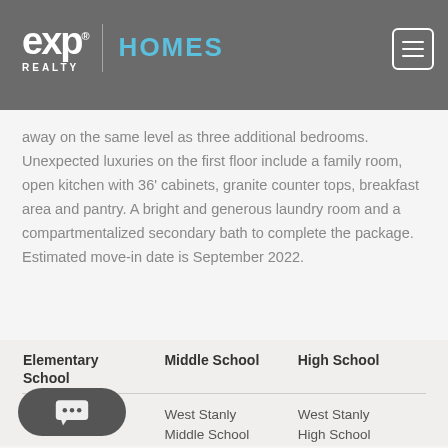eXp Realty HOMES
away on the same level as three additional bedrooms. Unexpected luxuries on the first floor include a family room, open kitchen with 36' cabinets, granite counter tops, breakfast area and pantry. A bright and generous laundry room and a compartmentalized secondary bath to complete the package. Estimated move-in date is September 2022.
| Elementary School | Middle School | High School |
| --- | --- | --- |
| lementary | West Stanly Middle School | West Stanly High School |